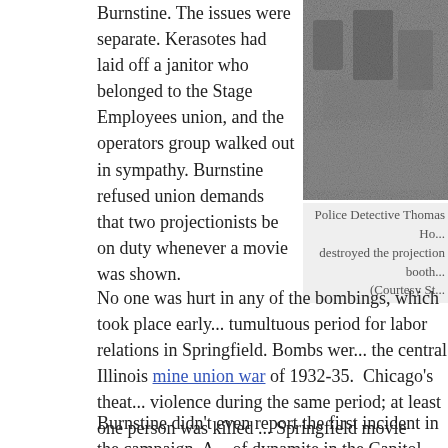Burnstine. The issues were separate. Kerasotes had laid off a janitor who belonged to the Stage Employees union, and the operators group walked out in sympathy. Burnstine refused union demands that two projectionists be on duty whenever a movie was shown.
[Figure (photo): Black and white historical photograph, partially visible on the right side of the page.]
Police Detective Thomas Ho... destroyed the projection booth... (Courtesy St...
No one was hurt in any of the bombings, which took place early... tumultuous period for labor relations in Springfield. Bombs wer... the central Illinois mine union war of 1932-35. Chicago's theat... violence during the same period; at least one person was killed ... Springfield movie dispute was minor.
Burnstine didn't even report the first incident in the campaign. A... of dynamite in the Capitol theater, 613 E. Washington St., in mi...